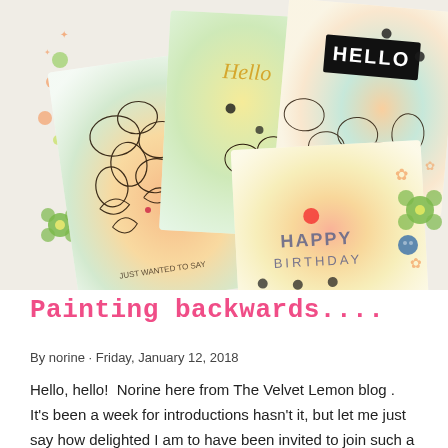[Figure (photo): Collection of handmade watercolor floral greeting cards arranged overlapping each other. Cards feature flowers painted in soft watercolor washes of orange, yellow, pink, green, and teal. One card reads 'Hello' in script, another has 'HELLO' in bold white text on black label, another says 'HAPPY BIRTHDAY', and another reads 'JUST WANTED TO SAY'. Decorative elements include buttons and flower embellishments scattered around.]
Painting backwards....
By norine · Friday, January 12, 2018
Hello, hello!  Norine here from The Velvet Lemon blog .  It's been a week for introductions hasn't it, but let me just say how delighted I am to have been invited to join such a talented group